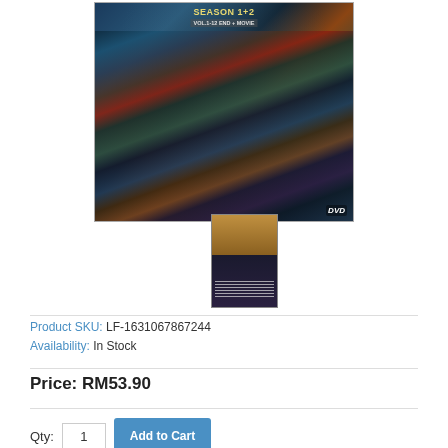[Figure (photo): DVD product image showing Korean drama Season 1+2 Vol.1-12 END + MOVIE cover art with multiple cast members in period costumes, and a back cover thumbnail below]
Product SKU: LF-1631067867244
Availability: In Stock
Price: RM53.90
Qty: 1  Add to Cart